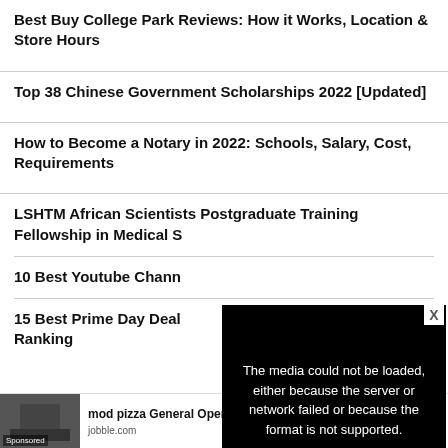Best Buy College Park Reviews: How it Works, Location & Store Hours
Top 38 Chinese Government Scholarships 2022 [Updated]
How to Become a Notary in 2022: Schools, Salary, Cost, Requirements
LSHTM African Scientists Postgraduate Training Fellowship in Medical S…
10 Best Youtube Chann…
15 Best Prime Day Deal… Ranking
[Figure (screenshot): Video error overlay with black background showing text: 'The media could not be loaded, either because the server or network failed or because the format is not supported.' with an X close button.]
[Figure (photo): Sponsored ad image showing people working, with text: 'mod pizza General Operational Manager Jobs i' from jobble.com]